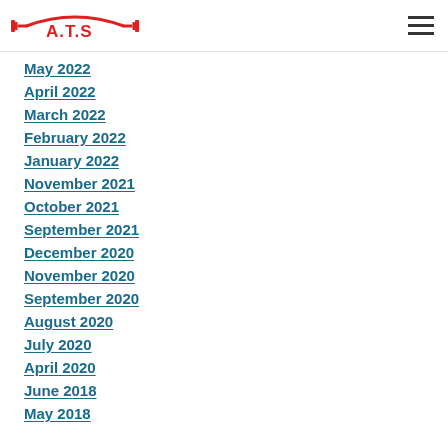A.T.S logo and hamburger menu
May 2022
April 2022
March 2022
February 2022
January 2022
November 2021
October 2021
September 2021
December 2020
November 2020
September 2020
August 2020
July 2020
April 2020
June 2018
May 2018